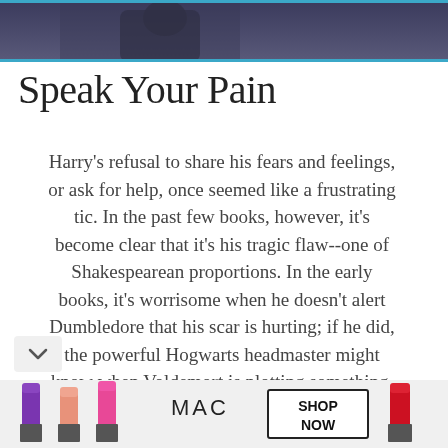[Figure (photo): Dark cinematic photo of a person at the top of the page, partially cropped]
Speak Your Pain
Harry's refusal to share his fears and feelings, or ask for help, once seemed like a frustrating tic. In the past few books, however, it's become clear that it's his tragic flaw--one of Shakespearean proportions. In the early books, it's worrisome when he doesn't alert Dumbledore that his scar is hurting; if he did, the powerful Hogwarts headmaster might know when Voldemort is plotting something. In "Goblet of Fire," it's maddening when Harry doesn't tell Neville that he needs a way to survive underwater, since Neville knows
[Figure (photo): MAC cosmetics advertisement banner showing lipsticks with SHOP NOW button]